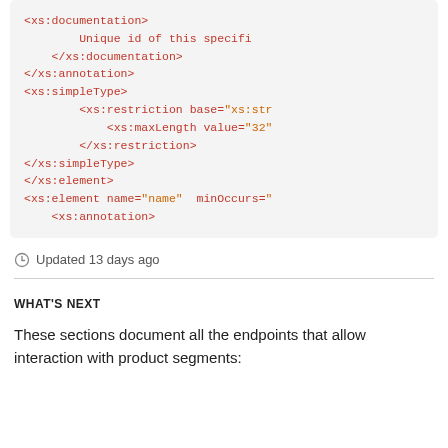[Figure (screenshot): Code block showing XML schema snippet with xs:documentation, xs:annotation, xs:simpleType, xs:restriction, xs:maxLength, and xs:element tags in orange/red monospace font on light gray background.]
Updated 13 days ago
WHAT'S NEXT
These sections document all the endpoints that allow interaction with product segments: